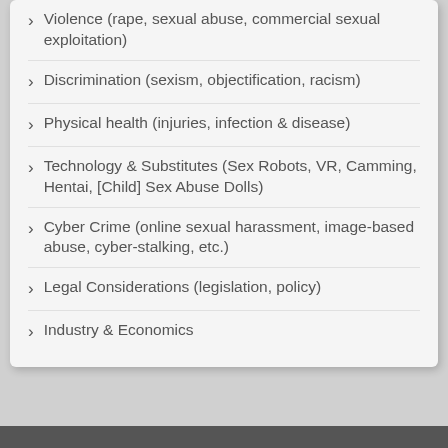Violence (rape, sexual abuse, commercial sexual exploitation)
Discrimination (sexism, objectification, racism)
Physical health (injuries, infection & disease)
Technology & Substitutes (Sex Robots, VR, Camming, Hentai, [Child] Sex Abuse Dolls)
Cyber Crime (online sexual harassment, image-based abuse, cyber-stalking, etc.)
Legal Considerations (legislation, policy)
Industry & Economics